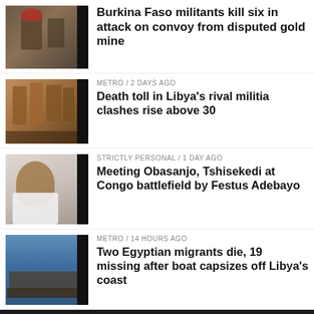[Figure (photo): Armed militants, Burkina Faso]
Burkina Faso militants kill six in attack on convoy from disputed gold mine
[Figure (photo): Destroyed buildings, Libya militia clashes]
METRO / 2 days ago
Death toll in Libya's rival militia clashes rise above 30
[Figure (photo): Obasanjo, elderly man in white]
STRICTLY PERSONAL / 1 day ago
Meeting Obasanjo, Tshisekedi at Congo battlefield by Festus Adebayo
[Figure (photo): Migrants on boat, sea]
METRO / 14 hours ago
Two Egyptian migrants die, 19 missing after boat capsizes off Libya's coast
0 SHARES